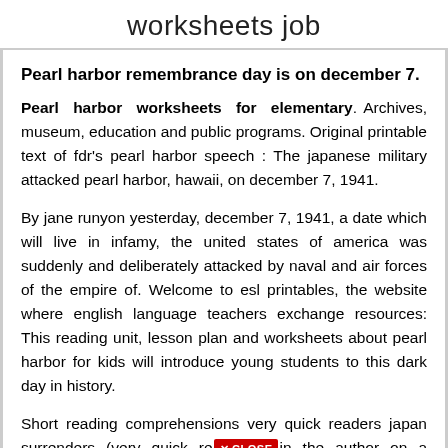worksheets job
Pearl harbor remembrance day is on december 7.
Pearl harbor worksheets for elementary. Archives, museum, education and public programs. Original printable text of fdr's pearl harbor speech : The japanese military attacked pearl harbor, hawaii, on december 7, 1941.
By jane runyon yesterday, december 7, 1941, a date which will live in infamy, the united states of america was suddenly and deliberately attacked by naval and air forces of the empire of. Welcome to esl printables, the website where english language teachers exchange resources: This reading unit, lesson plan and worksheets about pearl harbor for kids will introduce young students to this dark day in history.
Short reading comprehensions very quick readers japan surrenders (very quick re[X CLOSE]in the author on a recent